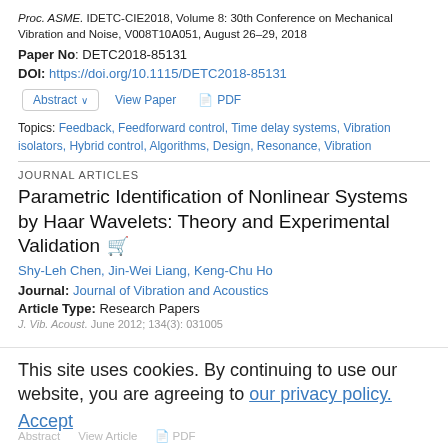Proc. ASME. IDETC-CIE2018, Volume 8: 30th Conference on Mechanical Vibration and Noise, V008T10A051, August 26–29, 2018
Paper No: DETC2018-85131
DOI: https://doi.org/10.1115/DETC2018-85131
Abstract ∨   View Paper   PDF
Topics: Feedback, Feedforward control, Time delay systems, Vibration isolators, Hybrid control, Algorithms, Design, Resonance, Vibration
JOURNAL ARTICLES
Parametric Identification of Nonlinear Systems by Haar Wavelets: Theory and Experimental Validation 🛒
Shy-Leh Chen, Jin-Wei Liang, Keng-Chu Ho
Journal: Journal of Vibration and Acoustics
Article Type: Research Papers
J. Vib. Acoust. June 2012; 134(3): 031005
This site uses cookies. By continuing to use our website, you are agreeing to our privacy policy. Accept